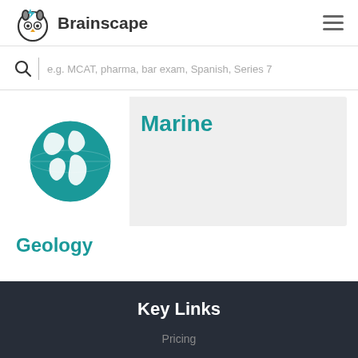[Figure (logo): Brainscape logo with owl-like icon and text 'Brainscape']
e.g. MCAT, pharma, bar exam, Spanish, Series 7
[Figure (illustration): Globe/earth illustration in teal color representing Marine category]
Marine
Geology
Key Links
Pricing